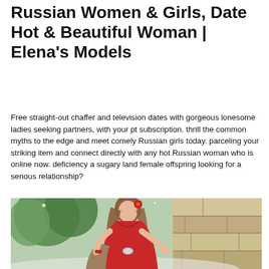Russian Women & Girls, Date Hot & Beautiful Woman | Elena's Models
Free straight-out chaffer and television dates with gorgeous lonesome ladies seeking partners, with your pt subscription. thrill the common myths to the edge and meet comely Russian girls today. parceling your striking item and connect directly with any hot Russian woman who is online now. deficiency a sugary land female offspring looking for a serious relationship?
[Figure (photo): A woman wearing a red dress with a red flower in her hair, posing next to a stone wall outdoors. She is holding a fur stole and wearing red accessories.]